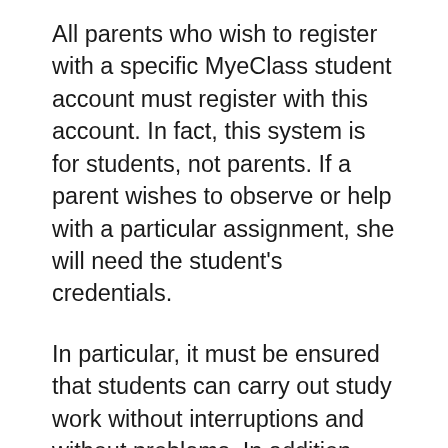All parents who wish to register with a specific MyeClass student account must register with this account. In fact, this system is for students, not parents. If a parent wishes to observe or help with a particular assignment, she will need the student's credentials.
In particular, it must be ensured that students can carry out study work without interruptions and without problems. In addition, care must be taken that parents can only access the portal of interest with the consent of the students.
As this MyeClass Parent Portal platform is available at any time, the student must be able to connect at any time. A student who is